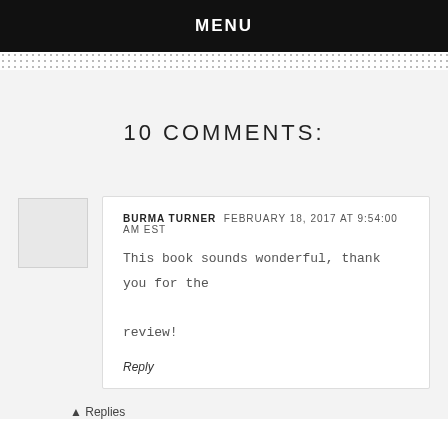MENU
10 COMMENTS:
BURMA TURNER FEBRUARY 18, 2017 AT 9:54:00 AM EST

This book sounds wonderful, thank you for the review!

Reply
↑ Replies